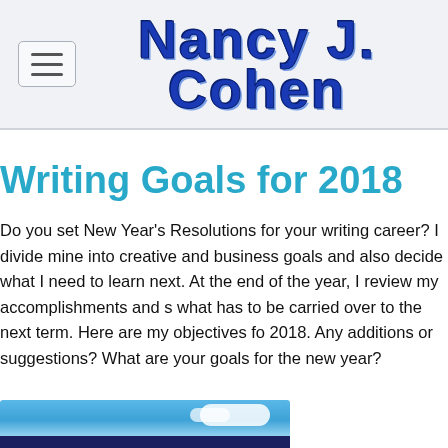Nancy J. Cohen
Writing Goals for 2018
Do you set New Year's Resolutions for your writing career? I divide mine into creative and business goals and also decide what I need to learn next. At the end of the year, I review my accomplishments and see what has to be carried over to the next term. Here are my objectives for 2018. Any additions or suggestions? What are your goals for the new year?
[Figure (photo): Photo of a tablet device against a blue sky with clouds, partial view at bottom of page]